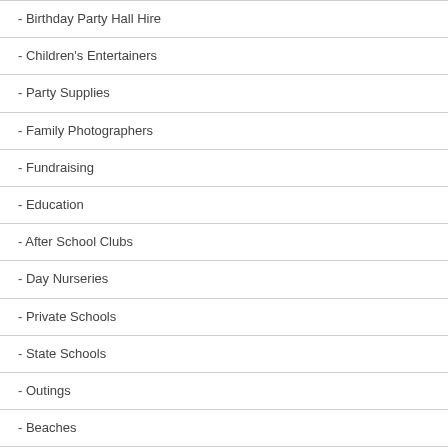- Birthday Party Hall Hire
- Children's Entertainers
- Party Supplies
- Family Photographers
- Fundraising
- Education
- After School Clubs
- Day Nurseries
- Private Schools
- State Schools
- Outings
- Beaches